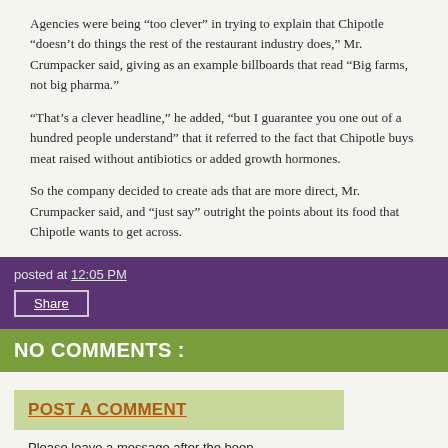Agencies were being “too clever” in trying to explain that Chipotle “doesn’t do things the rest of the restaurant industry does,” Mr. Crumpacker said, giving as an example billboards that read “Big farms, not big pharma.”

“That’s a clever headline,” he added, “but I guarantee you one out of a hundred people understand” that it referred to the fact that Chipotle buys meat raised without antibiotics or added growth hormones.

So the company decided to create ads that are more direct, Mr. Crumpacker said, and “just say” outright the points about its food that Chipotle wants to get across.
posted at 12:05 PM
Share
NO COMMENTS :
POST A COMMENT
Please leave a message after the beep.
BEEP!